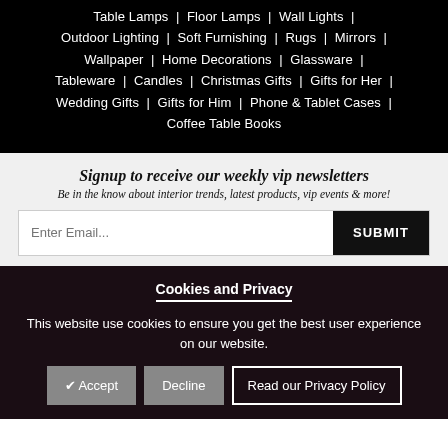Table Lamps | Floor Lamps | Wall Lights | Outdoor Lighting | Soft Furnishing | Rugs | Mirrors | Wallpaper | Home Decorations | Glassware | Tableware | Candles | Christmas Gifts | Gifts for Her | Wedding Gifts | Gifts for Him | Phone & Tablet Cases | Coffee Table Books
Signup to receive our weekly vip newsletters
Be in the know about interior trends, latest products, vip events & more!
Enter Email...  SUBMIT
Cookies and Privacy
This website use cookies to ensure you get the best user experience on our website.
✔ Accept  Decline  Read our Privacy Policy